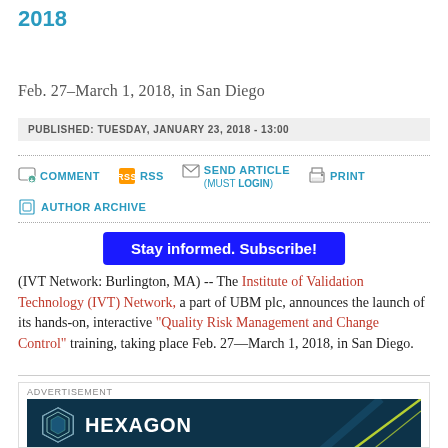2018
Feb. 27–March 1, 2018, in San Diego
PUBLISHED: TUESDAY, JANUARY 23, 2018 - 13:00
COMMENT  RSS  SEND ARTICLE (MUST LOGIN)  PRINT
AUTHOR ARCHIVE
Stay informed. Subscribe!
(IVT Network: Burlington, MA) -- The Institute of Validation Technology (IVT) Network, a part of UBM plc, announces the launch of its hands-on, interactive "Quality Risk Management and Change Control" training, taking place Feb. 27—March 1, 2018, in San Diego.
[Figure (other): Hexagon advertisement banner with logo and diagonal lines on dark blue background]